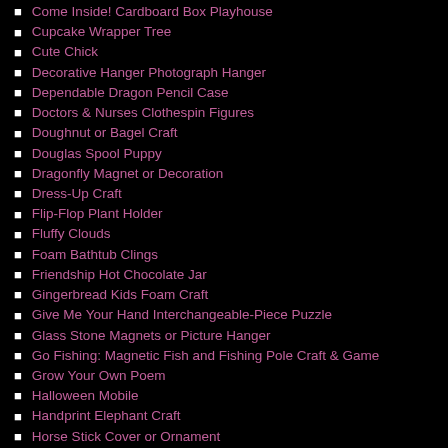Come Inside! Cardboard Box Playhouse
Cupcake Wrapper Tree
Cute Chick
Decorative Hanger Photograph Hanger
Dependable Dragon Pencil Case
Doctors & Nurses Clothespin Figures
Doughnut or Bagel Craft
Douglas Spool Puppy
Dragonfly Magnet or Decoration
Dress-Up Craft
Flip-Flop Plant Holder
Fluffy Clouds
Foam Bathtub Clings
Friendship Hot Chocolate Jar
Gingerbread Kids Foam Craft
Give Me Your Hand Interchangeable-Piece Puzzle
Glass Stone Magnets or Picture Hanger
Go Fishing: Magnetic Fish and Fishing Pole Craft & Game
Grow Your Own Poem
Halloween Mobile
Handprint Elephant Craft
Horse Stick Cover or Ornament
Jar Full of Love
Kinetic Sand